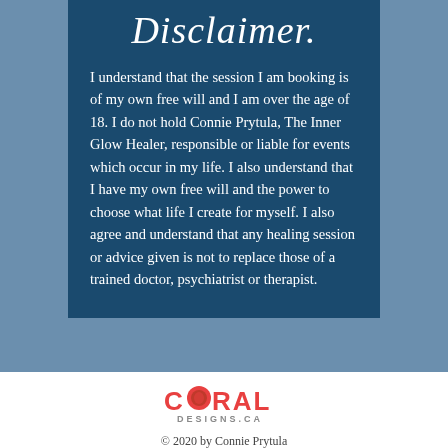Disclaimer.
I understand that the session I am booking is of my own free will and I am over the age of 18. I do not hold Connie Prytula, The Inner Glow Healer, responsible or liable for events which occur in my life. I also understand that I have my own free will and the power to choose what life I create for myself. I also agree and understand that any healing session or advice given is not to replace those of a trained doctor, psychiatrist or therapist.
[Figure (logo): Coral Designs.ca logo with coral red bold text and a decorative circle icon replacing the O in CORAL]
© 2020 by Connie Prytula
Terms of Service + Privacy Policy